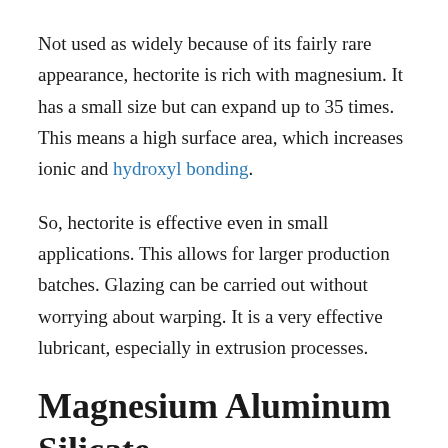Not used as widely because of its fairly rare appearance, hectorite is rich with magnesium. It has a small size but can expand up to 35 times. This means a high surface area, which increases ionic and hydroxyl bonding.
So, hectorite is effective even in small applications. This allows for larger production batches. Glazing can be carried out without worrying about warping. It is a very effective lubricant, especially in extrusion processes.
Magnesium Aluminum Silicate
Magnesium Aluminum Silicate improves adhesive